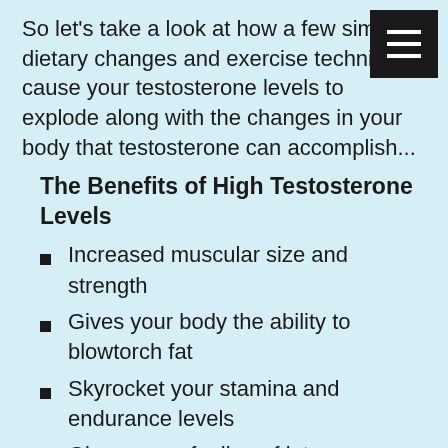So let's take a look at how a few simple dietary changes and exercise techniques cause your testosterone levels to explode along with the changes in your body that testosterone can accomplish...
The Benefits of High Testosterone Levels
Increased muscular size and strength
Gives your body the ability to blowtorch fat
Skyrocket your stamina and endurance levels
Gives you a feeling of intense, steady confidence
Slash your levels of the dangerous LDL cholesterol
Once you add these ten easy methods to your